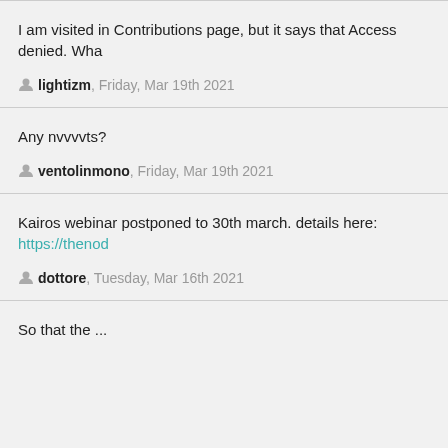I am visited in Contributions page, but it says that Access denied. Wha
lightizm, Friday, Mar 19th 2021
Any nvvvvts?
ventolinmono, Friday, Mar 19th 2021
Kairos webinar postponed to 30th march. details here: https://thenod
dottore, Tuesday, Mar 16th 2021
So that the ...